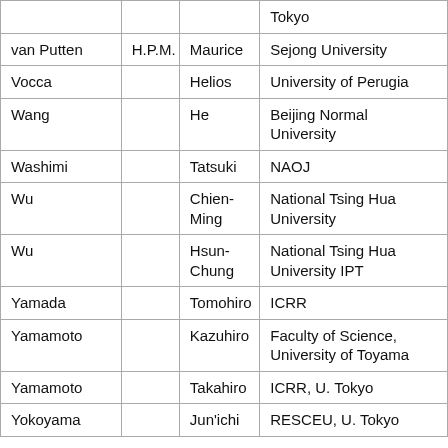| Last Name | Initials | First Name | Institution |
| --- | --- | --- | --- |
|  |  |  | Tokyo |
| van Putten | H.P.M. | Maurice | Sejong University |
| Vocca |  | Helios | University of Perugia |
| Wang |  | He | Beijing Normal University |
| Washimi |  | Tatsuki | NAOJ |
| Wu |  | Chien-Ming | National Tsing Hua University |
| Wu |  | Hsun-Chung | National Tsing Hua University IPT |
| Yamada |  | Tomohiro | ICRR |
| Yamamoto |  | Kazuhiro | Faculty of Science, University of Toyama |
| Yamamoto |  | Takahiro | ICRR, U. Tokyo |
| Yokoyama |  | Jun'ichi | RESCEU, U. Tokyo |